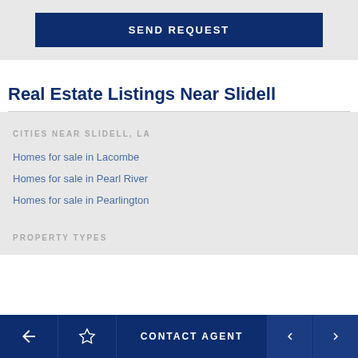[Figure (screenshot): SEND REQUEST button - dark navy blue rectangle with white uppercase text]
Real Estate Listings Near Slidell
CITIES NEAR SLIDELL, LA
Homes for sale in Lacombe
Homes for sale in Pearl River
Homes for sale in Pearlington
PROPERTY TYPES
← ☆ CONTACT AGENT ◄ ►